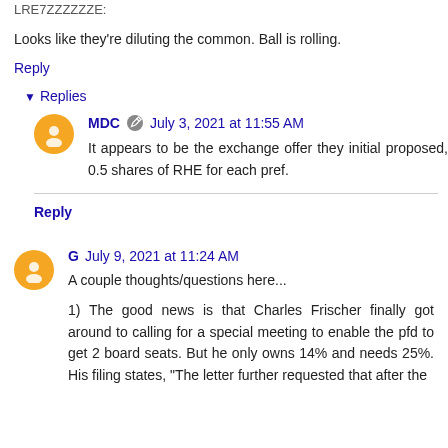LRE7ZZZZZZE:
Looks like they're diluting the common. Ball is rolling.
Reply
▾ Replies
MDC  July 3, 2021 at 11:55 AM
It appears to be the exchange offer they initial proposed, 0.5 shares of RHE for each pref.
Reply
G  July 9, 2021 at 11:24 AM
A couple thoughts/questions here...
1)  The good news is that Charles Frischer finally got around to calling for a special meeting to enable the pfd to get 2 board seats. But he only owns 14% and needs 25%. His filing states, "The letter further requested that after the